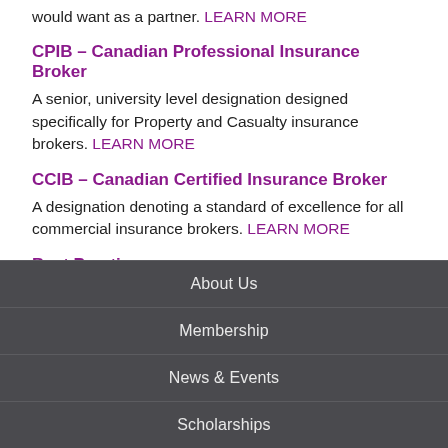would want as a partner. LEARN MORE
CPIB – Canadian Professional Insurance Broker
A senior, university level designation designed specifically for Property and Casualty insurance brokers. LEARN MORE
CCIB – Canadian Certified Insurance Broker
A designation denoting a standard of excellence for all commercial insurance brokers. LEARN MORE
Best Practices
A performance enhancement program, benchmarking broker operations against the 150 top performing brokerages in North America LEARN MORE
About Us | Membership | News & Events | Scholarships